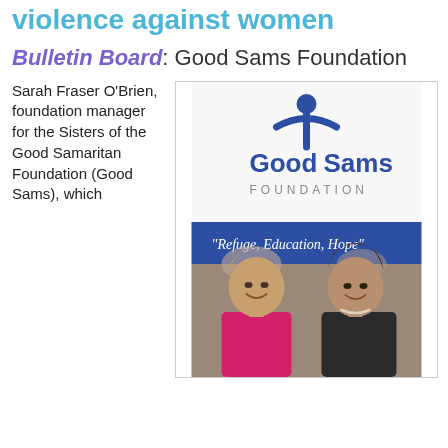violence against women
Bulletin Board: Good Sams Foundation
Sarah Fraser O'Brien, foundation manager for the Sisters of the Good Samaritan Foundation (Good Sams), which
[Figure (photo): Photo of two women smiling in front of a Good Sams Foundation banner that reads 'Refuge, Education, Hope'. The banner has the Good Sams Foundation logo with a stylized human figure in blue at the top.]